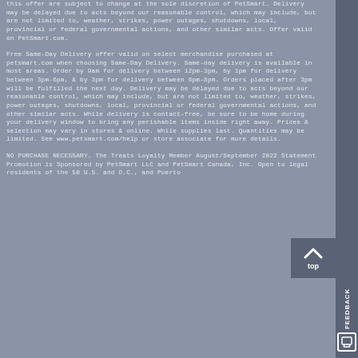this offer are subject to change at the sole discretion of PetSmart. Delivery may be delayed due to acts beyond our reasonable control, which may include, but are not limited to, weather, strikes, power outages, shutdowns, local, provincial or federal governmental actions, and other similar acts. Offer valid on PetSmart.com.
Free Same-Day Delivery offer valid on select merchandise purchased at petsmart.com when choosing Same-Day Delivery. Same-day delivery is available in most areas. Order by 9am for delivery between 12pm-3pm, by 1pm for delivery between 3pm-6pm, & by 3pm for delivery between 6pm-8pm. Orders placed after 3pm will be fulfilled the next day. Delivery may be delayed due to acts beyond our reasonable control, which may include, but are not limited to, weather, strikes, power outages, shutdowns, local, provincial or federal governmental actions, and other similar acts. While delivery is contact-free, be sure to be home during your delivery window to bring any perishable items inside right away. Prices & selection may vary in stores & online. While supplies last. Quantities may be limited. See www.petsmart.com/help or store associate for more details.
NO PURCHASE NECESSARY. The Treats Loyalty Member August/September 2022 Statement Promotion is Sponsored by PetSmart LLC and PetSmart Canada, Inc. Open to legal residents of the 50 U.S. and D.C., and Puerto